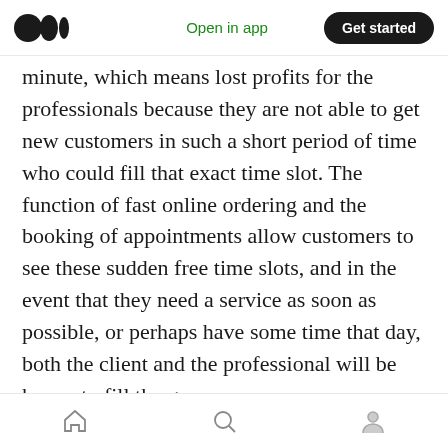Open in app  Get started
minute, which means lost profits for the professionals because they are not able to get new customers in such a short period of time who could fill that exact time slot. The function of fast online ordering and the booking of appointments allow customers to see these sudden free time slots, and in the event that they need a service as soon as possible, or perhaps have some time that day, both the client and the professional will be happy to fill the gap.
Not only in the field of nursing and health services, but also in reserving tables in the
home  search  profile